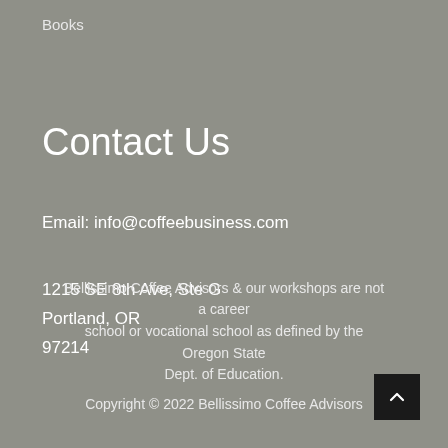Books
Contact Us
Email: info@coffeebusiness.com
1215 SE 8th Ave, Ste G
Portland, OR
97214
Bellissimo Coffee Advisors & our workshops are not a career school or vocational school as defined by the Oregon State Dept. of Education.
Copyright © 2022 Bellissimo Coffee Advisors